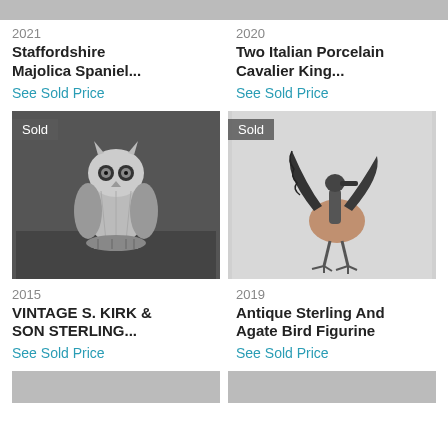[Figure (photo): Partial image of item 2021 at top left, cropped]
[Figure (photo): Partial image of item 2020 at top right, cropped]
2021
Staffordshire Majolica Spaniel...
See Sold Price
2020
Two Italian Porcelain Cavalier King...
See Sold Price
[Figure (photo): Silver metallic owl figurine with Sold badge]
[Figure (photo): Antique sterling and agate bird figurine with wings spread, Sold badge]
2015
VINTAGE S. KIRK & SON STERLING...
See Sold Price
2019
Antique Sterling And Agate Bird Figurine
See Sold Price
[Figure (photo): Partial image bottom left, cropped]
[Figure (photo): Partial image bottom right, cropped]